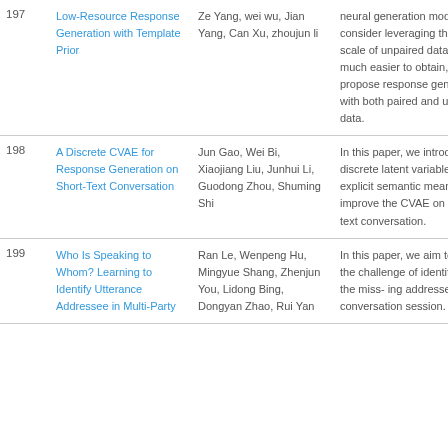| # | Title | Authors | Abstract |
| --- | --- | --- | --- |
| 197 | Low-Resource Response Generation with Template Prior | Ze Yang, wei wu, Jian Yang, Can Xu, zhoujun li | neural generation model, we consider leveraging the large scale of unpaired data that are much easier to obtain, and propose response generation with both paired and unpaired data. |
| 198 | A Discrete CVAE for Response Generation on Short-Text Conversation | Jun Gao, Wei Bi, Xiaojiang Liu, Junhui Li, Guodong Zhou, Shuming Shi | In this paper, we introduce a discrete latent variable with an explicit semantic meaning to improve the CVAE on short-text conversation. |
| 199 | Who Is Speaking to Whom? Learning to Identify Utterance Addressee in Multi-Party | Ran Le, Wenpeng Hu, Mingyue Shang, Zhenjun You, Lidong Bing, Dongyan Zhao, Rui Yan | In this paper, we aim to tackle the challenge of identifying all the miss- ing addressees in a conversation session. |